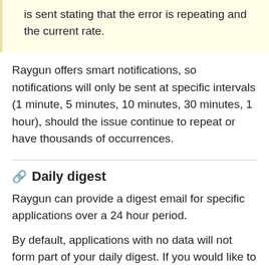is sent stating that the error is repeating and the current rate.
Raygun offers smart notifications, so notifications will only be sent at specific intervals (1 minute, 5 minutes, 10 minutes, 30 minutes, 1 hour), should the issue continue to repeat or have thousands of occurrences.
Daily digest
Raygun can provide a digest email for specific applications over a 24 hour period.
By default, applications with no data will not form part of your daily digest. If you would like to include all applications, even those without data, there is an option that can be found under 'General Notifications'